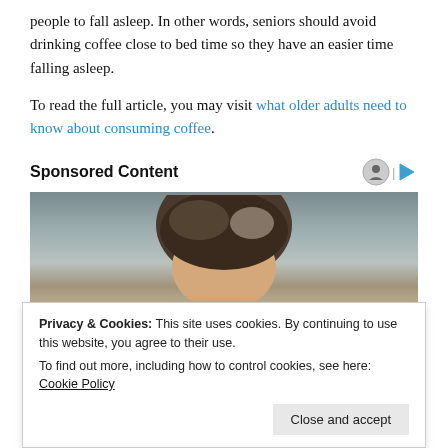people to fall asleep. In other words, seniors should avoid drinking coffee close to bed time so they have an easier time falling asleep.
To read the full article, you may visit what older adults need to know about consuming coffee.
Sponsored Content
[Figure (photo): Photo of a person with dark hair, partially cropped, gray background]
Privacy & Cookies: This site uses cookies. By continuing to use this website, you agree to their use.
To find out more, including how to control cookies, see here: Cookie Policy
Close and accept